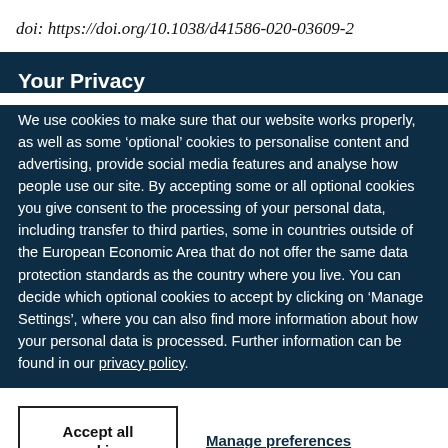doi: https://doi.org/10.1038/d41586-020-03609-2
Your Privacy
We use cookies to make sure that our website works properly, as well as some ‘optional’ cookies to personalise content and advertising, provide social media features and analyse how people use our site. By accepting some or all optional cookies you give consent to the processing of your personal data, including transfer to third parties, some in countries outside of the European Economic Area that do not offer the same data protection standards as the country where you live. You can decide which optional cookies to accept by clicking on ‘Manage Settings’, where you can also find more information about how your personal data is processed. Further information can be found in our privacy policy.
Accept all cookies
Manage preferences